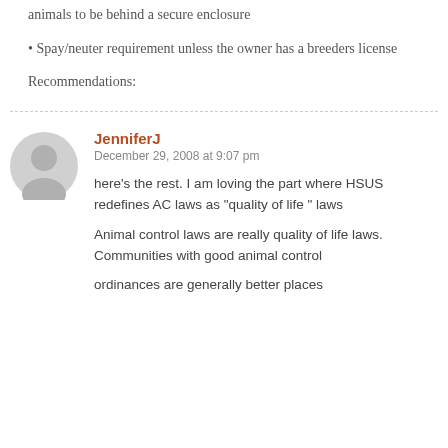animals to be behind a secure enclosure
• Spay/neuter requirement unless the owner has a breeders license
Recommendations:
JenniferJ
December 29, 2008 at 9:07 pm
here’s the rest. I am loving the part where HSUS redefines AC laws as “quality of life ” laws
Animal control laws are really quality of life laws. Communities with good animal control
ordinances are generally better places